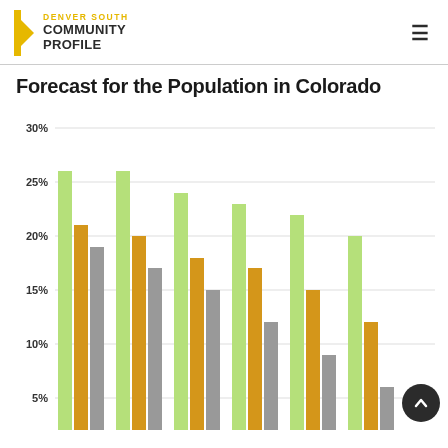DENVER SOUTH COMMUNITY PROFILE
Forecast for the Population in Colorado
[Figure (grouped-bar-chart): Forecast for the Population in Colorado]